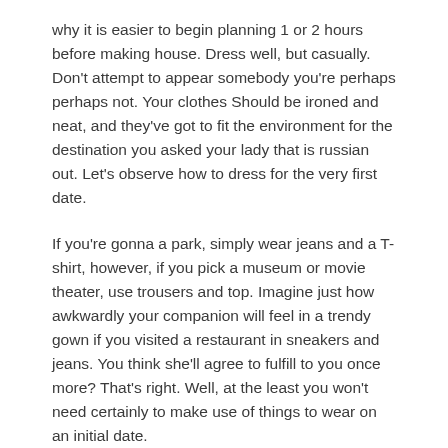why it is easier to begin planning 1 or 2 hours before making house. Dress well, but casually. Don't attempt to appear somebody you're perhaps perhaps not. Your clothes Should be ironed and neat, and they've got to fit the environment for the destination you asked your lady that is russian out. Let's observe how to dress for the very first date.
If you're gonna a park, simply wear jeans and a T-shirt, however, if you pick a museum or movie theater, use trousers and top. Imagine just how awkwardly your companion will feel in a trendy gown if you visited a restaurant in sneakers and jeans. You think she'll agree to fulfill to you once more? That's right. Well, at the least you won't need certainly to make use of things to wear on an initial date.
Listed below are three basic Russian girls dating guidelines: shave that person, don't use Too perfume that